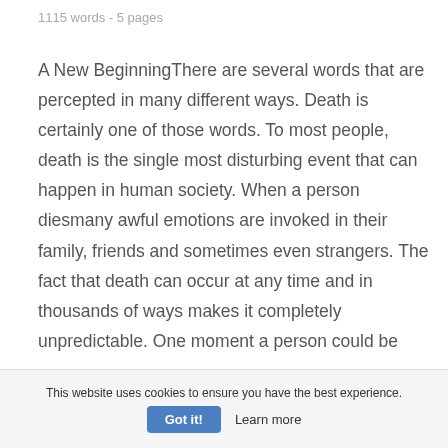1115 words - 5 pages
A New BeginningThere are several words that are percepted in many different ways. Death is certainly one of those words. To most people, death is the single most disturbing event that can happen in human society. When a person diesmany awful emotions are invoked in their family, friends and sometimes even strangers. The fact that death can occur at any time and in thousands of ways makes it completely unpredictable. One moment a person could be
This website uses cookies to ensure you have the best experience. Got it! Learn more